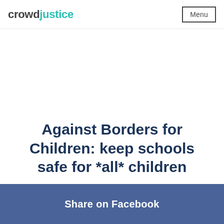crowd justice  Menu
Against Borders for Children: keep schools safe for *all* children
Share on Facebook